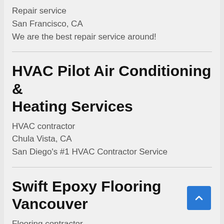Repair service
San Francisco, CA
We are the best repair service around!
HVAC Pilot Air Conditioning & Heating Services
HVAC contractor
Chula Vista, CA
San Diego's #1 HVAC Contractor Service
Swift Epoxy Flooring Vancouver
Flooring contractor